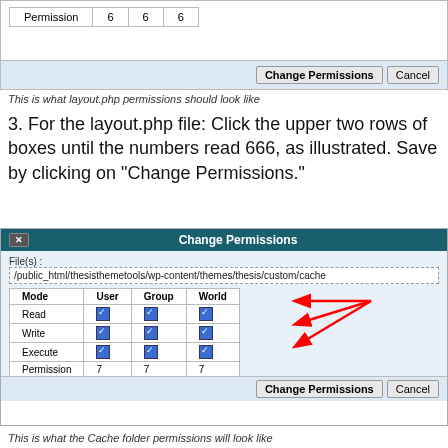[Figure (screenshot): Change Permissions dialog showing Permission row with values 6 6 6 and Change Permissions / Cancel buttons]
This is what layout.php permissions should look like
3. For the layout.php file: Click the upper two rows of boxes until the numbers read 666, as illustrated. Save by clicking on "Change Permissions."
[Figure (screenshot): Change Permissions dialog for /public_html/thesisthemetools/wp-content/themes/thesis/custom/cache showing Mode/User/Group/World table with Read/Write/Execute all checked (Permission 7 7 7) and red arrows pointing to checkboxes]
This is what the Cache folder permissions will look like